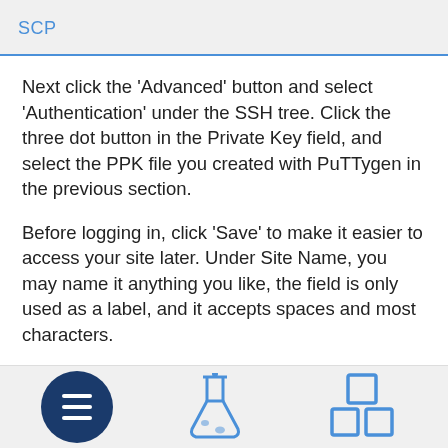SCP
Next click the 'Advanced' button and select 'Authentication' under the SSH tree. Click the three dot button in the Private Key field, and select the PPK file you created with PuTTygen in the previous section.
Before logging in, click 'Save' to make it easier to access your site later. Under Site Name, you may name it anything you like, the field is only used as a label, and it accepts spaces and most characters.
You may click login now. If your login was successful, you may access the putty terminal with ease from here by clicking the icon.
Navigation bar with hamburger menu, flask icon, and windows icon